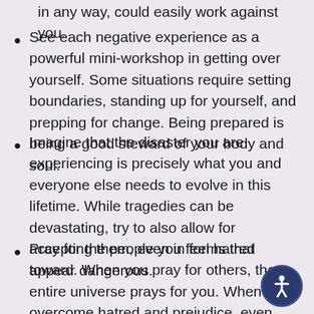in any way, could easily work against you.
See each negative experience as a powerful mini-workshop in getting over yourself. Some situations require setting boundaries, standing up for yourself, and prepping for change. Being prepared is being a good steward of your body and soul.
Imagine that the disaster you are experiencing is precisely what you and everyone else needs to evolve in this lifetime. While tragedies can be devastating, try to also allow for accepting them, even in forms that appear dangerous.
Pray for the people you feel hatred toward. When you pray for others, the entire universe prays for you. When you overcome hatred and prejudice, even while in the bosom of your not-so-evolved birth religion, you become Christ-like. When it happens, it's a beautiful thing. Savor it.
[partial bullet visible at bottom]